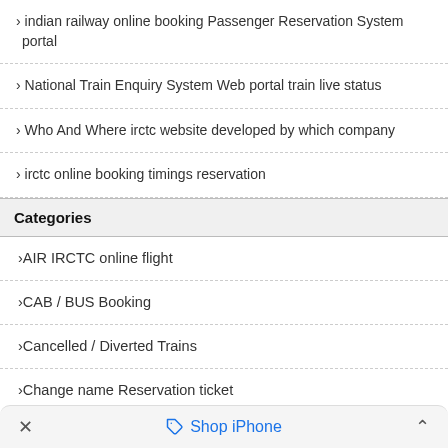› indian railway online booking Passenger Reservation System portal
› National Train Enquiry System Web portal train live status
› Who And Where irctc website developed by which company
› irctc online booking timings reservation
Categories
›AIR IRCTC online flight
›CAB / BUS Booking
›Cancelled / Diverted Trains
›Change name Reservation ticket
›Current Booking
›E catering service
✕   Shop iPhone   ˄